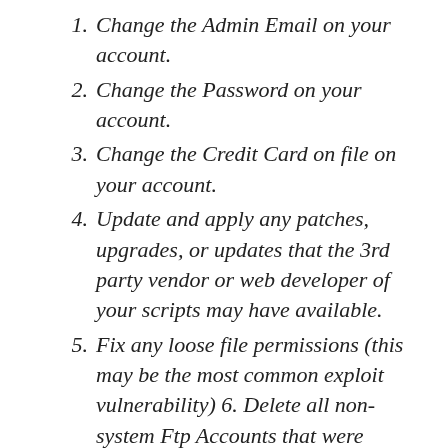1. Change the Admin Email on your account.
2. Change the Password on your account.
3. Change the Credit Card on file on your account.
4. Update and apply any patches, upgrades, or updates that the 3rd party vendor or web developer of your scripts may have available.
5. Fix any loose file permissions (this may be the most common exploit vulnerability) 6. Delete all non-system Ftp Accounts that were created, or at the very least, change the passwords